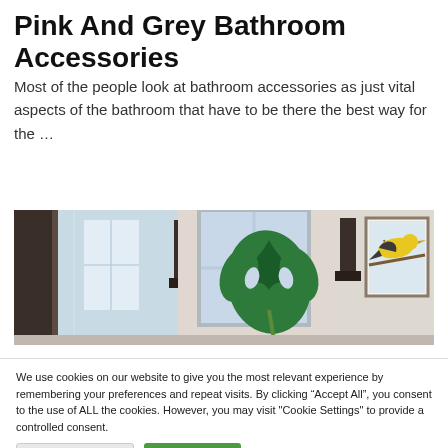Pink And Grey Bathroom Accessories
Most of the people look at bathroom accessories as just vital aspects of the bathroom that have to be there the best way for the …
[Figure (photo): Interior bathroom/hallway scene showing mirrors, a large green monstera leaf, window light, and a framed bird painting on the right side.]
We use cookies on our website to give you the most relevant experience by remembering your preferences and repeat visits. By clicking "Accept All", you consent to the use of ALL the cookies. However, you may visit "Cookie Settings" to provide a controlled consent.